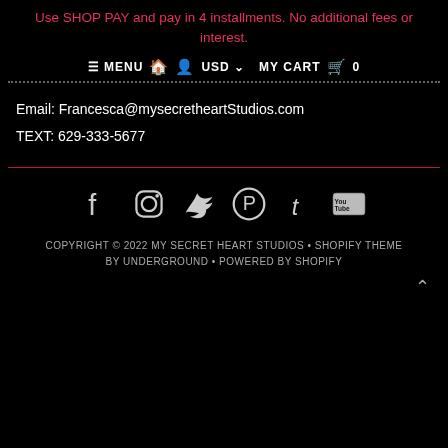Use SHOP PAY and pay in 4 installments. No additional fees or interest.
☰ MENU 🏠 👤 USD ∨ MY CART 🛍 0
Email: Francesca@mysecretheartStudios.com
TEXT: 629-333-5677
[Figure (infographic): Social media icons: Facebook, Instagram, Twitter, Pinterest, Tumblr, YouTube]
COPYRIGHT © 2022 MY SECRET HEART STUDIOS • SHOPIFY THEME BY UNDERGROUND • POWERED BY SHOPIFY